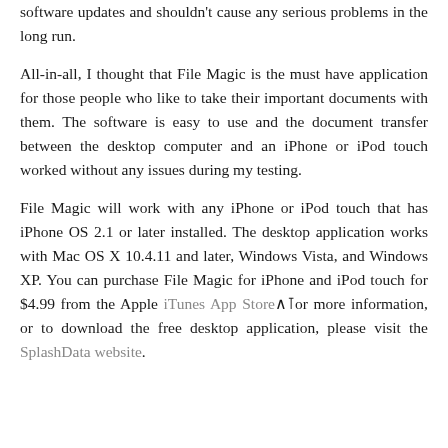software updates and shouldn't cause any serious problems in the long run.
All-in-all, I thought that File Magic is the must have application for those people who like to take their important documents with them. The software is easy to use and the document transfer between the desktop computer and an iPhone or iPod touch worked without any issues during my testing.
File Magic will work with any iPhone or iPod touch that has iPhone OS 2.1 or later installed. The desktop application works with Mac OS X 10.4.11 and later, Windows Vista, and Windows XP. You can purchase File Magic for iPhone and iPod touch for $4.99 from the Apple iTunes App Store. For more information, or to download the free desktop application, please visit the SplashData website.